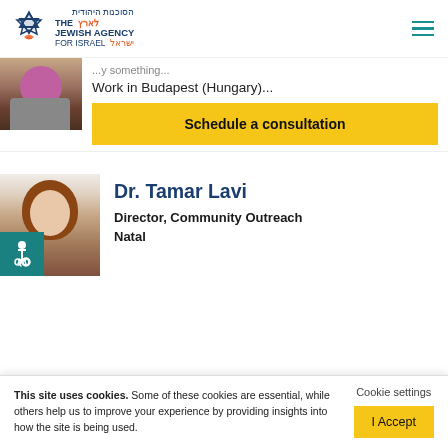The Jewish Agency for Israel
Work in Budapest (Hungary)...
Schedule a consultation
[Figure (photo): Headshot photo of Dr. Tamar Lavi, a woman with brown hair]
Dr. Tamar Lavi
Director, Community Outreach Natal
This site uses cookies. Some of these cookies are essential, while others help us to improve your experience by providing insights into how the site is being used.